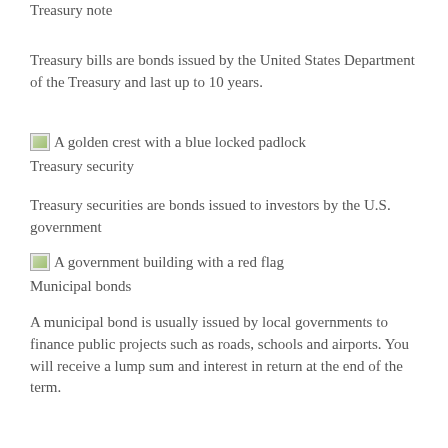Treasury note
Treasury bills are bonds issued by the United States Department of the Treasury and last up to 10 years.
[Figure (illustration): A golden crest with a blue locked padlock]
Treasury security
Treasury securities are bonds issued to investors by the U.S. government
[Figure (illustration): A government building with a red flag]
Municipal bonds
A municipal bond is usually issued by local governments to finance public projects such as roads, schools and airports. You will receive a lump sum and interest in return at the end of the term.